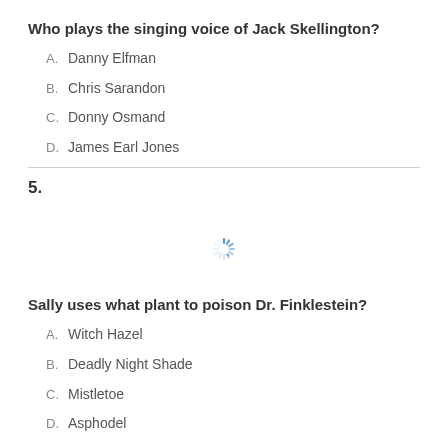Who plays the singing voice of Jack Skellington?
A. Danny Elfman
B. Chris Sarandon
C. Donny Osmand
D. James Earl Jones
5.
[Figure (other): Loading spinner icon]
Sally uses what plant to poison Dr. Finklestein?
A. Witch Hazel
B. Deadly Night Shade
C. Mistletoe
D. Asphodel